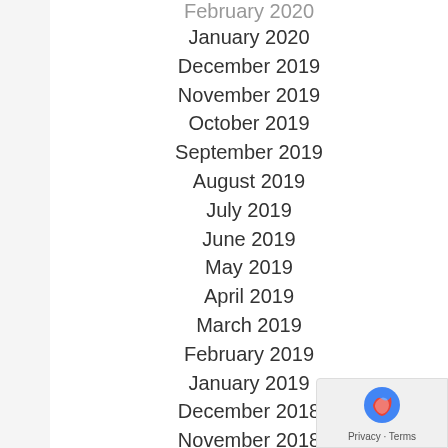February 2020
January 2020
December 2019
November 2019
October 2019
September 2019
August 2019
July 2019
June 2019
May 2019
April 2019
March 2019
February 2019
January 2019
December 2018
November 2018
October 2018
September 2018
August 2018
July 2018
June 2018
May 2018
April 2018
March 2018